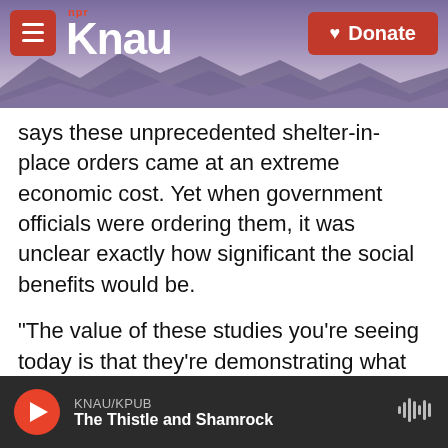KNAU NPR - Donate button
says these unprecedented shelter-in-place orders came at an extreme economic cost. Yet when government officials were ordering them, it was unclear exactly how significant the social benefits would be.
"The value of these studies you're seeing today is that they're demonstrating what the benefits of this policy are," Hsiang said in a press call discussing the studies. "They averted tens of millions of additional infections and millions of deaths."
The two studies used different methods to calculate the number of prevented deaths
KNAU/KPUB — The Thistle and Shamrock